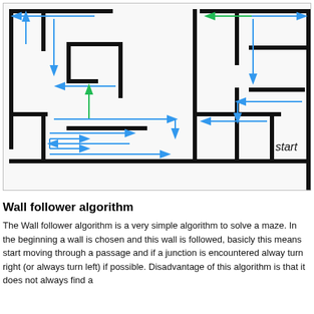[Figure (illustration): A maze diagram showing two maze sections side by side. Blue and green arrows show the path of the wall follower algorithm through the maze corridors. The word 'start' appears in the right maze section.]
Wall follower algorithm
The Wall follower algorithm is a very simple algorithm to solve a maze. In the beginning a wall is chosen and this wall is followed, basicly this means start moving through a passage and if a junction is encountered alway turn right (or always turn left) if possible. Disadvantage of this algorithm is that it does not always find a